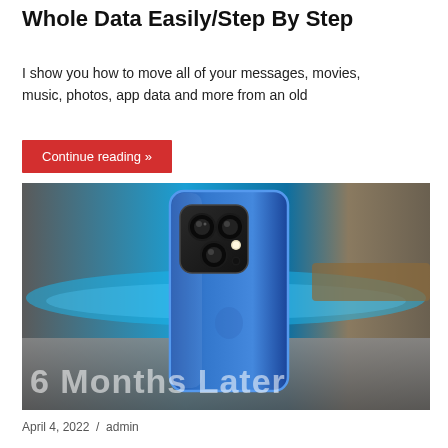Whole Data Easily/Step By Step
I show you how to move all of your messages, movies, music, photos, app data and more from an old
Continue reading »
[Figure (photo): Back of a blue iPhone 13 Pro showing triple camera system, with text overlay '6 Months Later' on a blurred background with blue lighting]
April 4, 2022 / admin